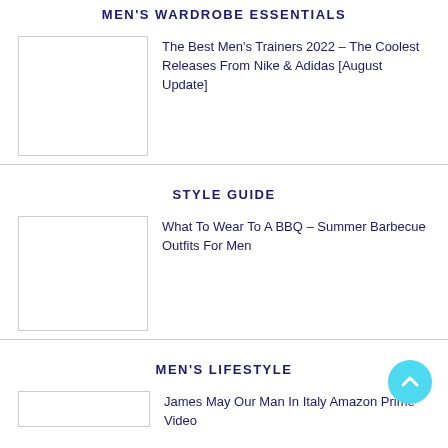MEN'S WARDROBE ESSENTIALS
The Best Men's Trainers 2022 – The Coolest Releases From Nike & Adidas [August Update]
STYLE GUIDE
What To Wear To A BBQ – Summer Barbecue Outfits For Men
MEN'S LIFESTYLE
James May Our Man In Italy Amazon Prime Video